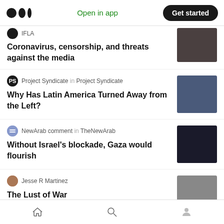Medium logo | Open in app | Get started
IFLA — Coronavirus, censorship, and threats against the media
Project Syndicate in Project Syndicate — Why Has Latin America Turned Away from the Left?
NewArab comment in TheNewArab — Without Israel's blockade, Gaza would flourish
Jesse R Martinez — The Lust of War
Home | Search | Profile